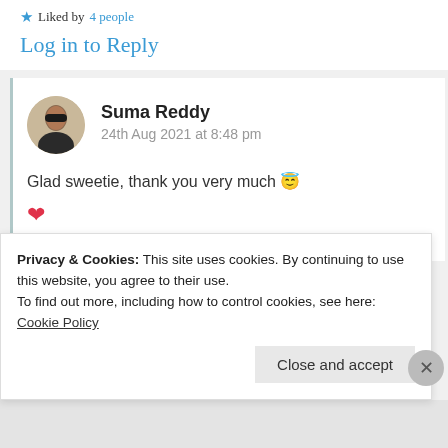★ Liked by 4 people
Log in to Reply
Suma Reddy
24th Aug 2021 at 8:48 pm
Glad sweetie, thank you very much 😇
❤
★ Liked by 1 person
Privacy & Cookies: This site uses cookies. By continuing to use this website, you agree to their use.
To find out more, including how to control cookies, see here: Cookie Policy
Close and accept